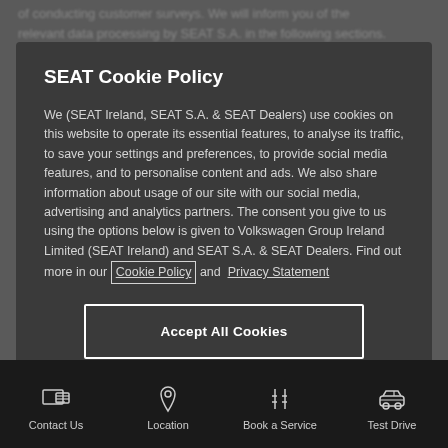SEAT Cookie Policy
We (SEAT Ireland, SEAT S.A. & SEAT Dealers) use cookies on this website to operate its essential features, to analyse its traffic, to save your settings and preferences, to provide social media features, and to personalise content and ads. We also share information about usage of our site with our social media, advertising and analytics partners. The consent you give to us using the options below is given to Volkswagen Group Ireland Limited (SEAT Ireland) and SEAT S.A. & SEAT Dealers. Find out more in our Cookie Policy and  Privacy Statement
Accept All Cookies
Manage Cookies
Contact Us  Location  Book a Service  Test Drive